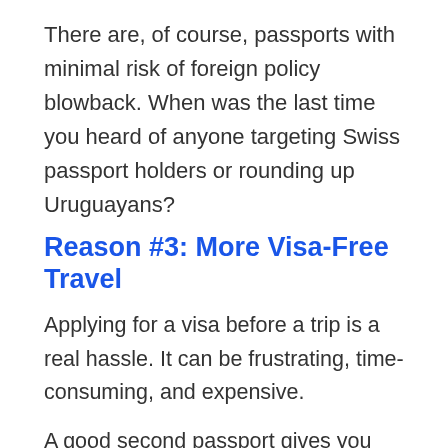There are, of course, passports with minimal risk of foreign policy blowback. When was the last time you heard of anyone targeting Swiss passport holders or rounding up Uruguayans?
Reason #3: More Visa-Free Travel
Applying for a visa before a trip is a real hassle. It can be frustrating, time-consuming, and expensive.
A good second passport gives you visa-free access to more countries than you had before.
Take Paraguay, for example. It's one of the